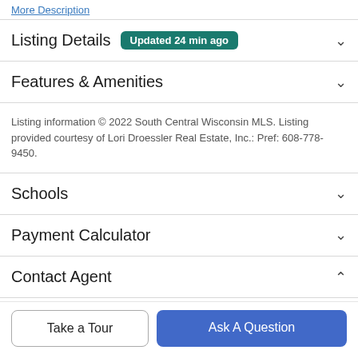More Description
Listing Details  Updated 24 min ago
Features & Amenities
Listing information © 2022 South Central Wisconsin MLS. Listing provided courtesy of Lori Droessler Real Estate, Inc.: Pref: 608-778-9450.
Schools
Payment Calculator
Contact Agent
Take a Tour
Ask A Question